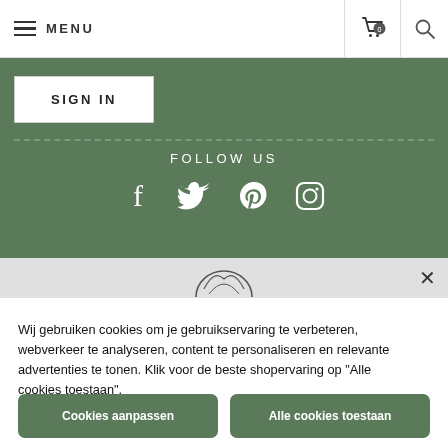MENU
SIGN IN
FOLLOW US
[Figure (illustration): Social media icons: Facebook, Twitter, Pinterest, Instagram in white on green background]
[Figure (logo): Partial circular logo at top of white section]
Wij gebruiken cookies om je gebruikservaring te verbeteren, webverkeer te analyseren, content te personaliseren en relevante advertenties te tonen. Klik voor de beste shopervaring op "Alle cookies toestaan".
Cookies aanpassen
Alle cookies toestaan